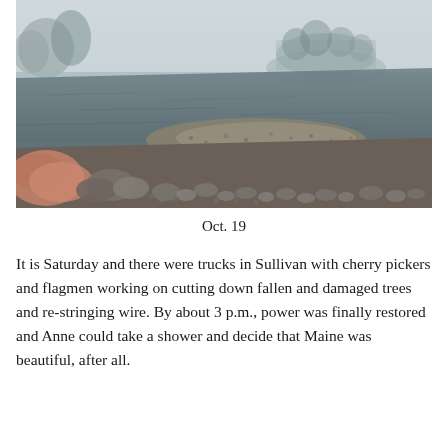[Figure (photo): Foggy coastal Maine scene showing a rocky shoreline at low tide with calm dark water, exposed rocky/pebbly tidal flats, and trees on a distant island or shore obscured by thick fog]
Oct. 19
It is Saturday and there were trucks in Sullivan with cherry pickers and flagmen working on cutting down fallen and damaged trees and re-stringing wire. By about 3 p.m., power was finally restored and Anne could take a shower and decide that Maine was beautiful, after all.